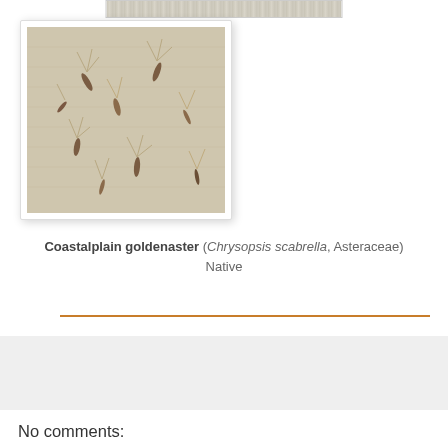[Figure (photo): Photo of small dried plant seeds/achenes with feathery pappus scattered on a light linen fabric background]
Coastalplain goldenaster (Chrysopsis scabrella, Asteraceae)
Native
No comments:
Post a Comment